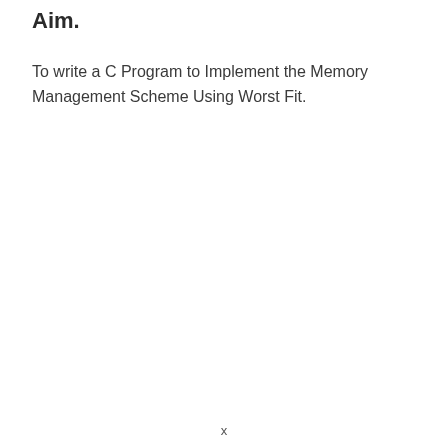Aim.
To write a C Program to Implement the Memory Management Scheme Using Worst Fit.
x